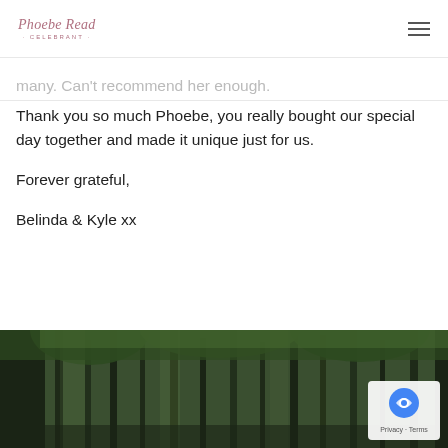Phoebe Read Celebrant
Thank you so much Phoebe, you really bought our special day together and made it unique just for us.

Forever grateful,

Belinda & Kyle xx
[Figure (photo): Tropical palm forest photo used as decorative background at the bottom of the page]